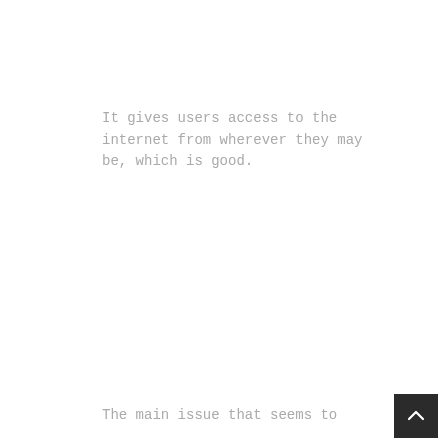It gives users access to the internet from wherever they may be, which is good.
The main issue that seems to